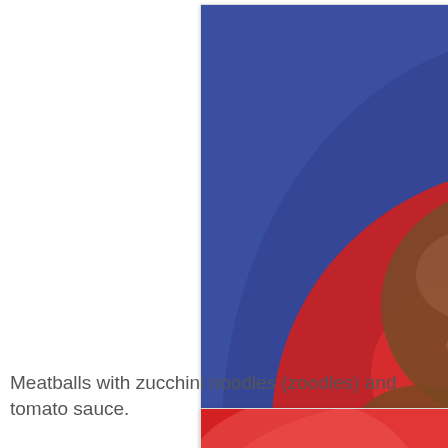[Figure (photo): A blue patterned bowl containing zucchini noodles (zoodles) topped with large meatballs and red tomato sauce. The meatballs are prominently covered in bright red marinara sauce, with spiralized green zucchini noodles visible around and beneath them.]
Meatballs with zucchini noodles (zoodles) and tomato sauce.
[Figure (photo): A partial view of a dish showing red-colored food with blueberries and what appears to be white cream or yogurt, partially visible at the bottom of the page.]